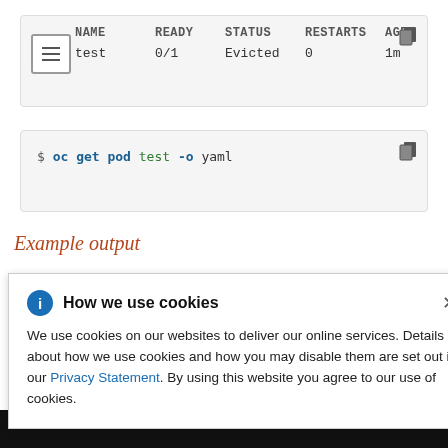[Figure (screenshot): Terminal output table showing: NAME=test, READY=0/1, STATUS=Evicted, RESTARTS=0, AGE=1m]
[Figure (screenshot): Command line code block: $ oc get pod test -o yaml]
Example output
[Figure (screenshot): Code box showing partial output: resource: [Me]
How we use cookies — We use cookies on our websites to deliver our online services. Details about how we use cookies and how you may disable them are set out in our Privacy Statement. By using this website you agree to our use of cookies.